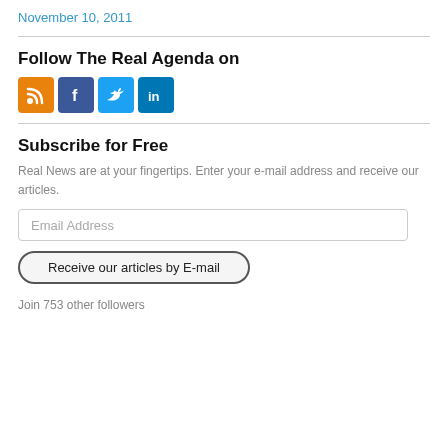November 10, 2011
Follow The Real Agenda on
[Figure (other): Social media icons: RSS (orange), Facebook (blue), Twitter (light blue), LinkedIn (blue)]
Subscribe for Free
Real News are at your fingertips. Enter your e-mail address and receive our articles.
Email Address
Receive our articles by E-mail
Join 753 other followers